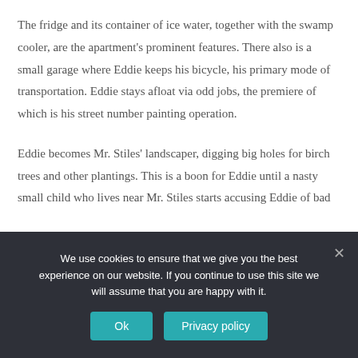The fridge and its container of ice water, together with the swamp cooler, are the apartment's prominent features. There also is a small garage where Eddie keeps his bicycle, his primary mode of transportation. Eddie stays afloat via odd jobs, the premiere of which is his street number painting operation.
Eddie becomes Mr. Stiles' landscaper, digging big holes for birch trees and other plantings. This is a boon for Eddie until a nasty small child who lives near Mr. Stiles starts accusing Eddie of bad
We use cookies to ensure that we give you the best experience on our website. If you continue to use this site we will assume that you are happy with it.